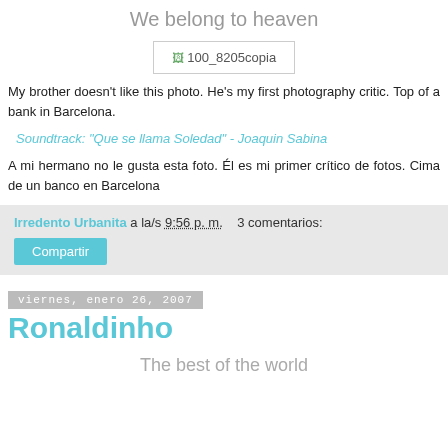We belong to heaven
[Figure (photo): Broken image placeholder labeled '100_8205copia']
My brother doesn't like this photo. He's my first photography critic. Top of a bank in Barcelona.
Soundtrack: "Que se llama Soledad" - Joaquin Sabina
A mi hermano no le gusta esta foto. Él es mi primer crítico de fotos. Cima de un banco en Barcelona
Irredento Urbanita a la/s 9:56 p. m.    3 comentarios:
Compartir
viernes, enero 26, 2007
Ronaldinho
The best of the world